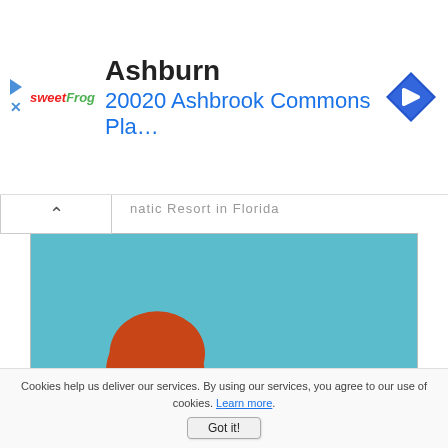[Figure (infographic): Advertisement banner showing sweetFrog logo, 'Ashburn' heading, '20020 Ashbrook Commons Pla...' subtitle, and a blue navigation diamond icon with right-turn arrow]
natic Resort in Florida
[Figure (photo): Photo of a smiling red-haired woman in a black blazer giving a thumbs up, with 4 large golden stars, and a hand pointing at them from the right, on a blue background]
How we choose the best resorts! Learn about our review and rating process!
Cookies help us deliver our services. By using our services, you agree to our use of cookies. Learn more.
Got it!